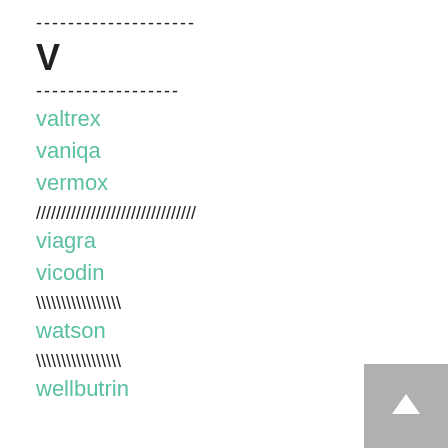--------------------
V
------------------
valtrex
vaniqa
vermox
////////////////////////////////
viagra
vicodin
\\\\\\\\\\\\\\\
watson
\\\\\\\\\\\\\\\
wellbutrin